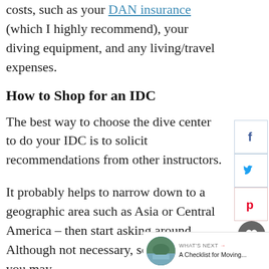costs, such as your DAN insurance (which I highly recommend), your diving equipment, and any living/travel expenses.
How to Shop for an IDC
The best way to choose the dive center to do your IDC is to solicit recommendations from other instructors.
It probably helps to narrow down to a geographic area such as Asia or Central America – then start asking around. Although not necessary, some factors you may consider for choosing your IDC location are PADI
WHAT'S NEXT → A Checklist for Moving...